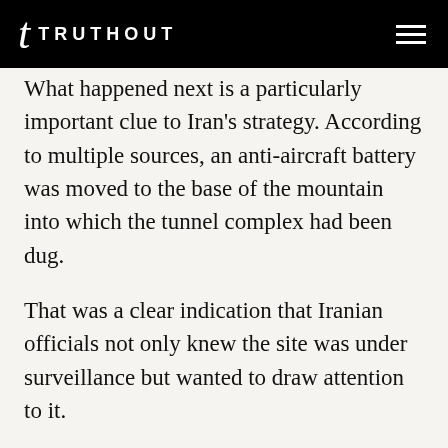TRUTHOUT
What happened next is a particularly important clue to Iran's strategy. According to multiple sources, an anti-aircraft battery was moved to the base of the mountain into which the tunnel complex had been dug.
That was a clear indication that Iranian officials not only knew the site was under surveillance but wanted to draw attention to it.
That move prompted serious debate within the intelligence community. French security consultant Roland Jacquard, who had contacts in